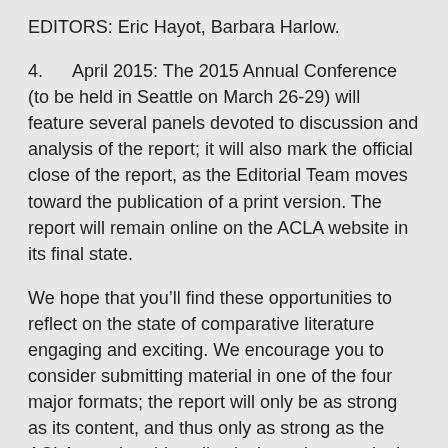EDITORS: Eric Hayot, Barbara Harlow.
4.    April 2015: The 2015 Annual Conference (to be held in Seattle on March 26-29) will feature several panels devoted to discussion and analysis of the report; it will also mark the official close of the report, as the Editorial Team moves toward the publication of a print version. The report will remain online on the ACLA website in its final state.
We hope that you’ll find these opportunities to reflect on the state of comparative literature engaging and exciting. We encourage you to consider submitting material in one of the four major formats; the report will only be as strong as its content, and thus only as strong as the ACLA membership collectively works to make it.
If you have any questions, please be in touch. And please feel free to contact members of the Editorial Team with any